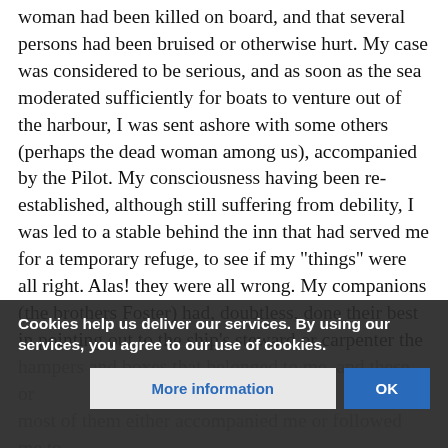woman had been killed on board, and that several persons had been bruised or otherwise hurt. My case was considered to be serious, and as soon as the sea moderated sufficiently for boats to venture out of the harbour, I was sent ashore with some others (perhaps the dead woman among us), accompanied by the Pilot. My consciousness having been re-established, although still suffering from debility, I was led to a stable behind the inn that had served me for a temporary refuge, to see if my "things" were all right. Alas! they were all wrong. My companions (the brothers Foster) had, doubtless, done their best in pointing out to the ship's steward or carpenter the hampers and boxes that belonged to me, and these, or most of them either accompanied me or followed me to land. But when I came to take stock of them, I found many articles [faded text] pers containing my large store of provisions were all
Cookies help us deliver our services. By using our services, you agree to our use of cookies.
More information
OK